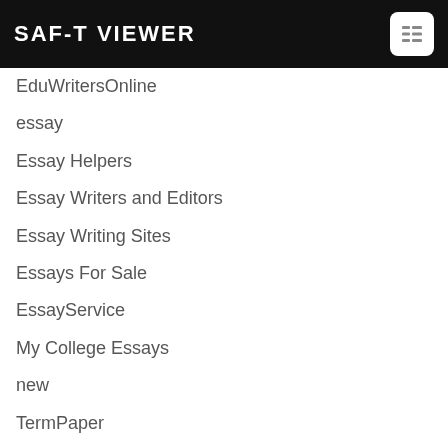SAF-T VIEWER
EduWritersOnline
essay
Essay Helpers
Essay Writers and Editors
Essay Writing Sites
Essays For Sale
EssayService
My College Essays
new
TermPaper
Top Writing Services
Uncategorized